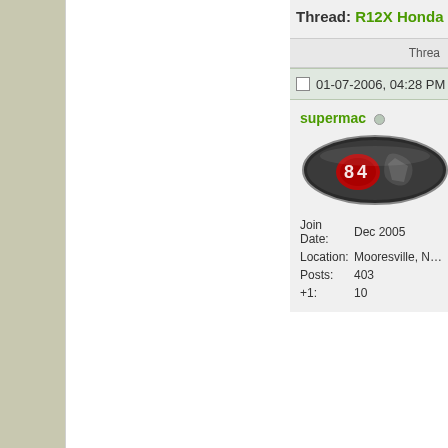Thread: R12X Honda H...
Thread...
01-07-2006, 04:28 PM
supermac
[Figure (logo): Oval shaped avatar/logo with red and black design on dark metallic background]
| Join Date: | Dec 2005 |
| Location: | Mooresville, N... |
| Posts: | 403 |
| +1: | 10 |